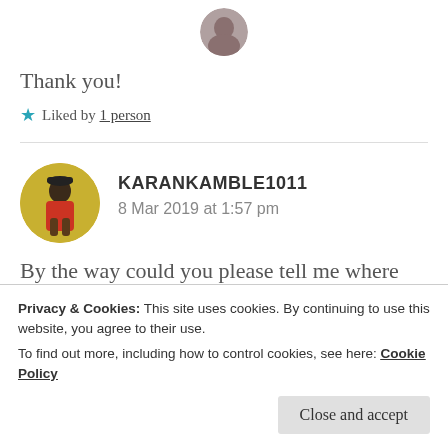[Figure (photo): Circular avatar image of a person, partially visible at top of page]
Thank you!
★ Liked by 1 person
[Figure (photo): Circular avatar photo of a man in a red shirt against a yellow background]
KARANKAMBLE1011
8 Mar 2019 at 1:57 pm
By the way could you please tell me where are you from?
Privacy & Cookies: This site uses cookies. By continuing to use this website, you agree to their use.
To find out more, including how to control cookies, see here: Cookie Policy
Close and accept